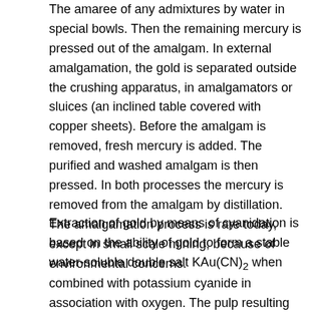The ama... [flags] ...ree of any admixtures by water in special bowls. Then the remaining mercury is pressed out of the amalgam. In external amalgamation, the gold is separated outside the crushing apparatus, in amalgamators or sluices (an inclined table covered with copper sheets). Before the amalgam is removed, fresh mercury is added. The purified and washed amalgam is then pressed. In both processes the mercury is removed from the amalgam by distillation. The amalgamation process is rare today, except in small scale mining, because of environmental concerns.
Extraction of gold by means of cyanidation is based on the ability of gold to form a stable water-soluble double salt KAu(CN)2 when combined with potassium cyanide in association with oxygen. The pulp resulting from the crushing of gold ore consists of larger crystalline particles, known as sands, and smaller amorphous particles, known as silt. The sand, being heavier, is deposited at the bottom of the apparatus and allows solutions (including silt) to pass through